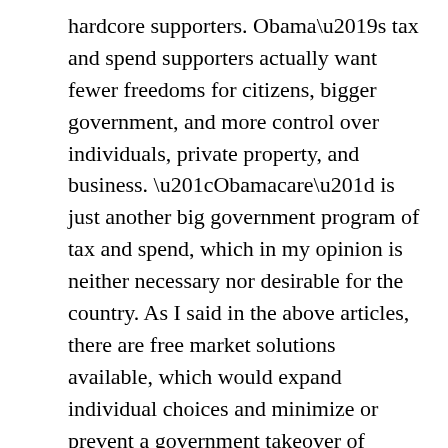hardcore supporters. Obama's tax and spend supporters actually want fewer freedoms for citizens, bigger government, and more control over individuals, private property, and business. “Obamacare” is just another big government program of tax and spend, which in my opinion is neither necessary nor desirable for the country. As I said in the above articles, there are free market solutions available, which would expand individual choices and minimize or prevent a government takeover of healthcare. The Republicans are right to oppose the bill, but the question of how we can fix it, reduce costs, and maintain our freedom of choice is still an issue. Perhaps the biggest question to be answered is, “Who should make healthcare decisions, the government or the patient in consultation with his or her doctor?” For me, given my belief in personal liberty and the effectiveness of free markets, individual freedom of choice is the